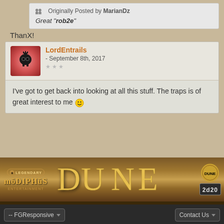Originally Posted by MarianDz
Great "rob2e"
ThanX!
LordEntrails - September 8th, 2017
I've got to get back into looking at all this stuff. The traps is of great interest to me 🙂
[Figure (illustration): Dune RPG advertisement banner with Modiphius Legendary logo on left, stylized DUNE text in center, 2d20 logo on right]
-- FGResponsive  Contact Us
Powered by vBulletin® Version 4.2.1
Copyright © 2022 vBulletin Solutions, Inc. All rights reserved.
Skin by Themecrate.com copyright SmiteWorks USA, LLC 2004-2022
Follow us on: